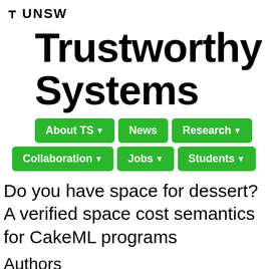UNSW
Trustworthy Systems
About TS
News
Research
Collaboration
Jobs
Students
Do you have space for dessert? A verified space cost semantics for CakeML programs
Authors